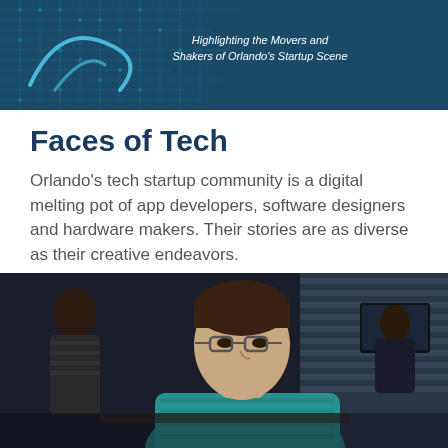[Figure (illustration): Dark teal banner with circuit board pattern in the background, a blue curl/swoosh graphic on the left, and white italic text on the right reading 'Highlighting the Movers and Shakers of Orlando's Startup Scene']
Faces of Tech
Orlando's tech startup community is a digital melting pot of app developers, software designers and hardware makers. Their stories are as diverse as their creative endeavors.
BY JIM LEUSNER
[Figure (photo): Dark office photo showing a man in a teal/blue patterned button-up shirt with glasses looking down, people in the background including someone at a standing desk with monitors and someone in a striped shirt]